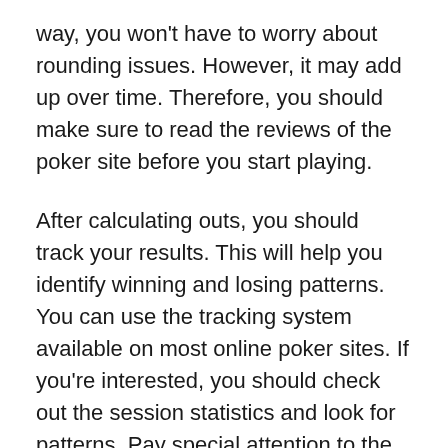way, you won't have to worry about rounding issues. However, it may add up over time. Therefore, you should make sure to read the reviews of the poker site before you start playing.
After calculating outs, you should track your results. This will help you identify winning and losing patterns. You can use the tracking system available on most online poker sites. If you're interested, you should check out the session statistics and look for patterns. Pay special attention to the win rate, number of flops, and number of times you've gone to showdown. These factors will help you make better decisions in your poker games. There are also many tips and tricks for playing Poker Online. You'll soon learn the tricks to make the game a winning